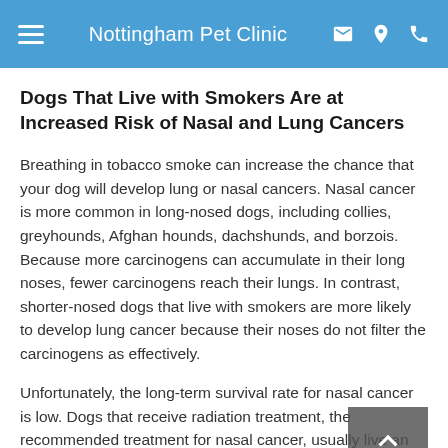Nottingham Pet Clinic
Dogs That Live with Smokers Are at Increased Risk of Nasal and Lung Cancers
Breathing in tobacco smoke can increase the chance that your dog will develop lung or nasal cancers. Nasal cancer is more common in long-nosed dogs, including collies, greyhounds, Afghan hounds, dachshunds, and borzois. Because more carcinogens can accumulate in their long noses, fewer carcinogens reach their lungs. In contrast, shorter-nosed dogs that live with smokers are more likely to develop lung cancer because their noses do not filter the carcinogens as effectively.
Unfortunately, the long-term survival rate for nasal cancer is low. Dogs that receive radiation treatment, the recommended treatment for nasal cancer, usually live an average eight to 19 months, according to the National